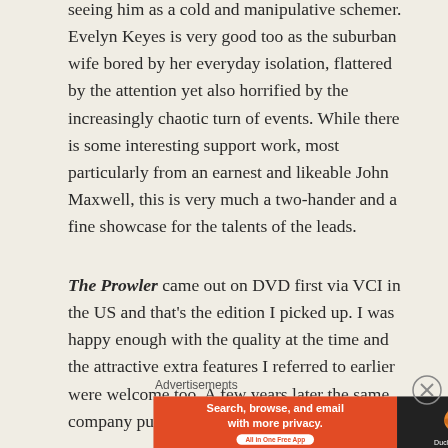seeing him as a cold and manipulative schemer. Evelyn Keyes is very good too as the suburban wife bored by her everyday isolation, flattered by the attention yet also horrified by the increasingly chaotic turn of events. While there is some interesting support work, most particularly from an earnest and likeable John Maxwell, this is very much a two-hander and a fine showcase for the talents of the leads.
The Prowler came out on DVD first via VCI in the US and that's the edition I picked up. I was happy enough with the quality at the time and the attractive extra features I referred to earlier were welcome too. A few years later the same company put out a Blu-ray version of the
Advertisements
[Figure (other): DuckDuckGo advertisement banner: orange left side with text 'Search, browse, and email with more privacy. All in One Free App', dark right side with DuckDuckGo duck logo and brand name.]